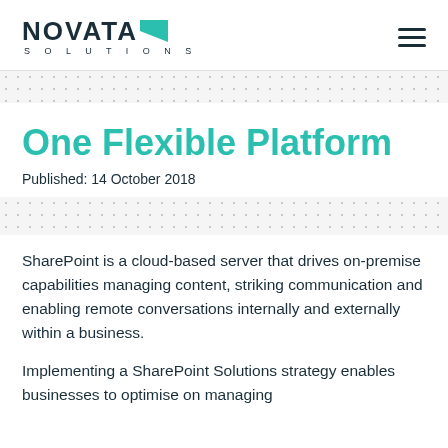[Figure (logo): Novata Solutions logo with stylized arrow/chevron and 'SOLUTIONS' subtitle below]
One Flexible Platform
Published: 14 October 2018
SharePoint is a cloud-based server that drives on-premise capabilities managing content, striking communication and enabling remote conversations internally and externally within a business.
Implementing a SharePoint Solutions strategy enables businesses to optimise on managing